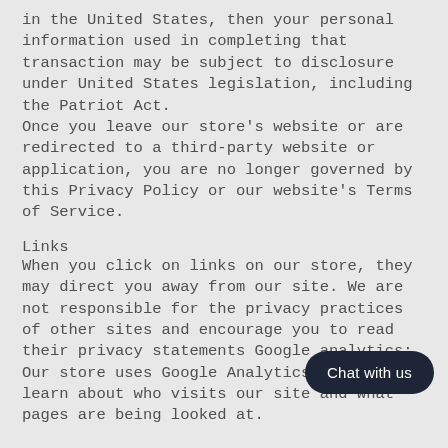in the United States, then your personal information used in completing that transaction may be subject to disclosure under United States legislation, including the Patriot Act. Once you leave our store's website or are redirected to a third-party website or application, you are no longer governed by this Privacy Policy or our website's Terms of Service.
Links
When you click on links on our store, they may direct you away from our site. We are not responsible for the privacy practices of other sites and encourage you to read their privacy statements Google analytics: Our store uses Google Analytics to help us learn about who visits our site and what pages are being looked at.